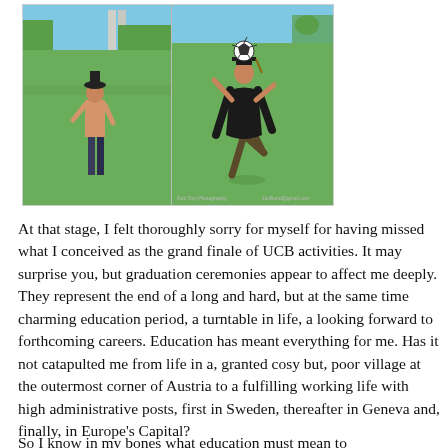[Figure (photo): Two side-by-side outdoor photos: left shows a shirtless young man standing on grass near a column structure; right shows a person in graduation gown balancing a soccer ball on their head while kicking up a leg, on a grass field.]
At that stage, I felt thoroughly sorry for myself for having missed what I conceived as the grand finale of UCB activities. It may surprise you, but graduation ceremonies appear to affect me deeply. They represent the end of a long and hard, but at the same time charming education period, a turntable in life, a looking forward to forthcoming careers. Education has meant everything for me. Has it not catapulted me from life in a, granted cosy but, poor village at the outermost corner of Austria to a fulfilling working life with high administrative posts, first in Sweden, thereafter in Geneva and, finally, in Europe's Capital?
So I know in my bones what education must mean to